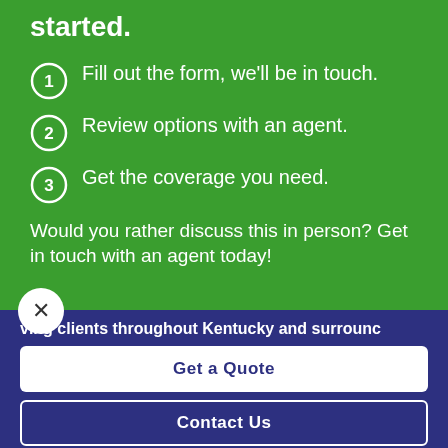started.
Fill out the form, we'll be in touch.
Review options with an agent.
Get the coverage you need.
Would you rather discuss this in person? Get in touch with an agent today!
ving clients throughout Kentucky and surrounc
Get a Quote
Contact Us